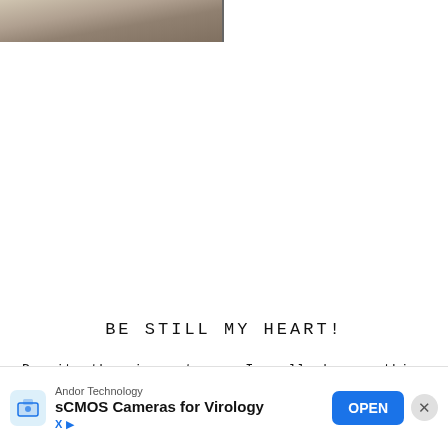[Figure (photo): Two side-by-side cropped photos at the top: left shows wooden deck planks (tan/brown tones), right shows a rooftop or similar surface (grey/blue tones).]
BE STILL MY HEART!
Despite the circumstances I really have nothing but great things to say about this school year. My kids have grown academically, socially and spiritually... they'[...] ships [...]
[Figure (other): Advertisement overlay: Andor Technology — sCMOS Cameras for Virology — with OPEN button, X and play badges, and close button.]